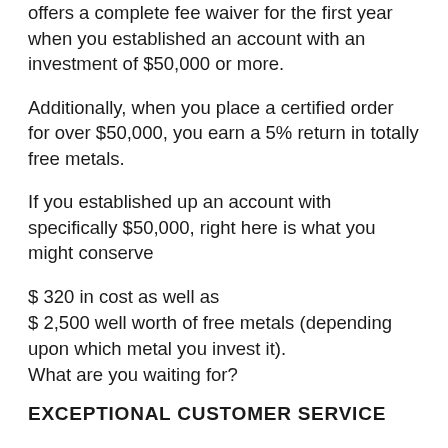offers a complete fee waiver for the first year when you established an account with an investment of $50,000 or more.
Additionally, when you place a certified order for over $50,000, you earn a 5% return in totally free metals.
If you established up an account with specifically $50,000, right here is what you might conserve
$ 320 in cost as well as
$ 2,500 well worth of free metals (depending upon which metal you invest it).
What are you waiting for?
EXCEPTIONAL CUSTOMER SERVICE